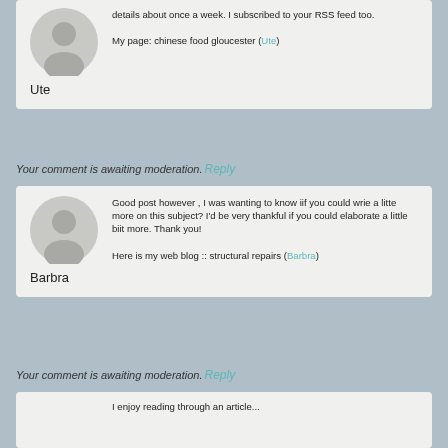details about once a week. I subscribed to your RSS feed too.

My page: chinese food gloucester (Ute)
Ute
Your comment is awaiting moderation. Reply
Good post however , I was wanting to know iif you could wrie a litte more on this subject? I'd be very thankful if you could elaborate a little biit more. Thank you!

Here is my web blog :: structural repairs (Barbra)
Barbra
Your comment is awaiting moderation. Reply
I enjoy reading through an article that will make people think. Also, many thamks for permitting me to comment!

Feel free to surf to my webssite :: double glazing (Seymour)
Seymour
Your comment is awaiting moderation. Reply